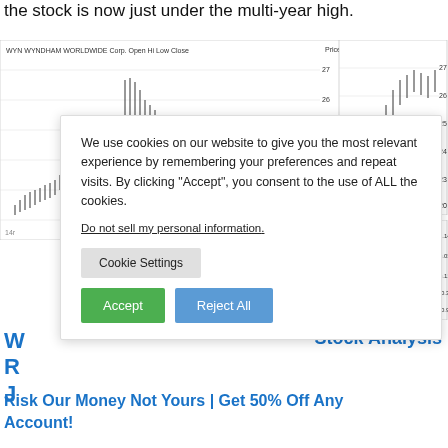the stock is now just under the multi-year high.
[Figure (screenshot): WYN Wyndham Worldwide Corp. candlestick price chart with OHLC data, showing price range from approximately 10 to 27, with a right-side panel showing recent price action from 20 to 27 and a QuoteMedia indicator chart showing green and red lines from approximately -0.90 to 1.141]
We use cookies on our website to give you the most relevant experience by remembering your preferences and repeat visits. By clicking “Accept”, you consent to the use of ALL the cookies.
Do not sell my personal information.
W
R
J
Stock Analysis
Risk Our Money Not Yours | Get 50% Off Any Account!